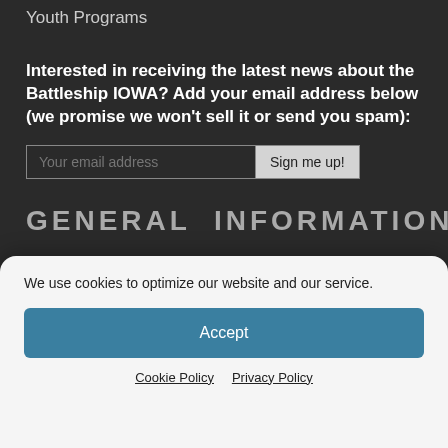Youth Programs
Interested in receiving the latest news about the Battleship IOWA? Add your email address below (we promise we won't sell it or send you spam):
GENERAL INFORMATION
Directions & Parking
Accessibility & Safety
Contact
We use cookies to optimize our website and our service.
Accept
Cookie Policy   Privacy Policy